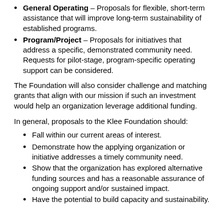General Operating – Proposals for flexible, short-term assistance that will improve long-term sustainability of established programs.
Program/Project – Proposals for initiatives that address a specific, demonstrated community need. Requests for pilot-stage, program-specific operating support can be considered.
The Foundation will also consider challenge and matching grants that align with our mission if such an investment would help an organization leverage additional funding.
In general, proposals to the Klee Foundation should:
Fall within our current areas of interest.
Demonstrate how the applying organization or initiative addresses a timely community need.
Show that the organization has explored alternative funding sources and has a reasonable assurance of ongoing support and/or sustained impact.
Have the potential to build capacity and sustainability.